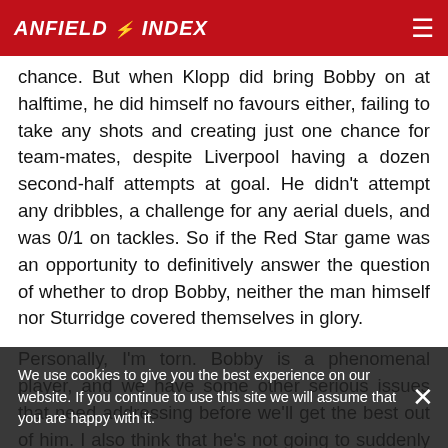ANFIELD INDEX
chance. But when Klopp did bring Bobby on at halftime, he did himself no favours either, failing to take any shots and creating just one chance for team-mates, despite Liverpool having a dozen second-half attempts at goal. He didn't attempt any dribbles, a challenge for any aerial duels, and was 0/1 on tackles. So if the Red Star game was an opportunity to definitively answer the question of whether to drop Bobby, neither the man himself nor Sturridge covered themselves in glory.
Personally, I'm torn. Bobby is a phenomenal player, and we have some other serious issues that need addressing before we'll get the best out of him. I also think that he's not going to suddenly rediscover his form. We have a few winnable games, it's a good opportunity for him to find his feet in this team. But on the other hand, he really isn't playing well and the likes of Sturridge and Shaqiri
We use cookies to give you the best experience on our website. If you continue to use this site we will assume that you are happy with it.